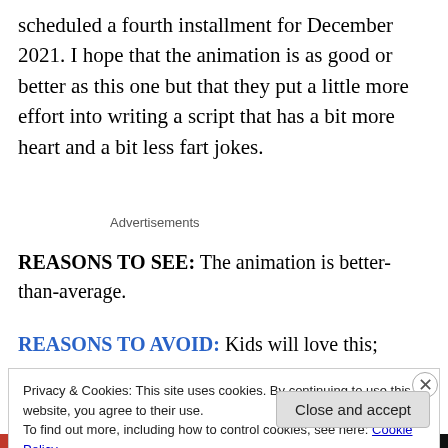scheduled a fourth installment for December 2021. I hope that the animation is as good or better as this one but that they put a little more effort into writing a script that has a bit more heart and a bit less fart jokes.
Advertisements
REASONS TO SEE: The animation is better-than-average.
REASONS TO AVOID: Kids will love this; parents, not so
Privacy & Cookies: This site uses cookies. By continuing to use this website, you agree to their use.
To find out more, including how to control cookies, see here: Cookie Policy
Close and accept